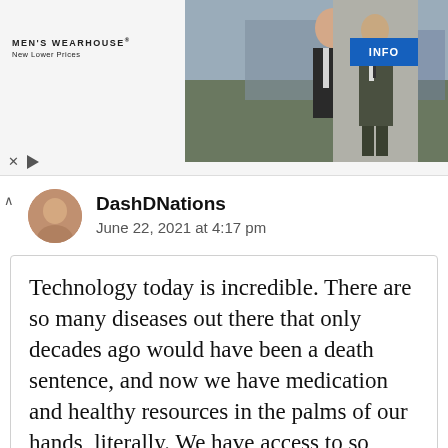[Figure (screenshot): Men's Wearhouse advertisement banner showing couple in formal wear and a man in a suit, with INFO button and media controls]
DashDNations
June 22, 2021 at 4:17 pm
Technology today is incredible. There are so many diseases out there that only decades ago would have been a death sentence, and now we have medication and healthy resources in the palms of our hands, literally. We have access to so much